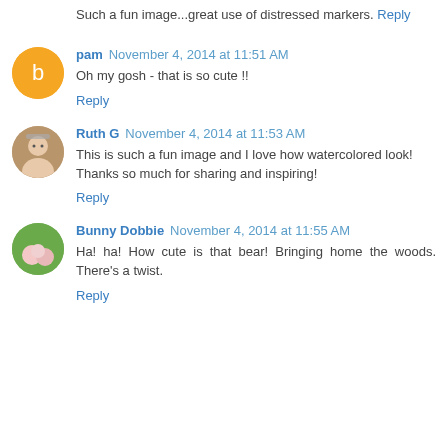Such a fun image...great use of distressed markers.
Reply
pam  November 4, 2014 at 11:51 AM
Oh my gosh - that is so cute !!
Reply
Ruth G  November 4, 2014 at 11:53 AM
This is such a fun image and I love how watercolored look! Thanks so much for sharing and inspiring!
Reply
Bunny Dobbie  November 4, 2014 at 11:55 AM
Ha! ha! How cute is that bear! Bringing home the woods. There's a twist.
Reply